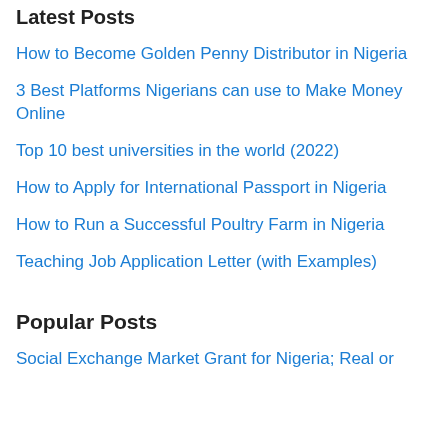Latest Posts
How to Become Golden Penny Distributor in Nigeria
3 Best Platforms Nigerians can use to Make Money Online
Top 10 best universities in the world (2022)
How to Apply for International Passport in Nigeria
How to Run a Successful Poultry Farm in Nigeria
Teaching Job Application Letter (with Examples)
Popular Posts
Social Exchange Market Grant for Nigeria; Real or